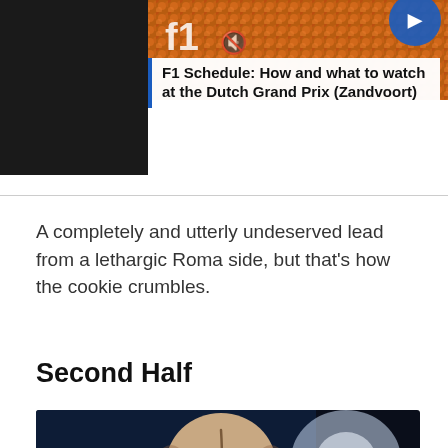[Figure (photo): A crowd of orange-clad fans with a partial F1 branded graphic overlay]
F1 Schedule: How and what to watch at the Dutch Grand Prix (Zandvoort)
A completely and utterly undeserved lead from a lethargic Roma side, but that's how the cookie crumbles.
Second Half
[Figure (photo): Close-up back of a bald man's head with a scar visible, dark background with a blurred light orb]